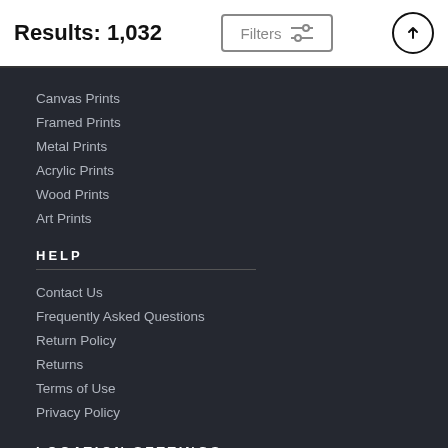Results: 1,032
Canvas Prints
Framed Prints
Metal Prints
Acrylic Prints
Wood Prints
Art Prints
HELP
Contact Us
Frequently Asked Questions
Return Policy
Returns
Terms of Use
Privacy Policy
LOCATION SETTINGS
Beverly Hills, CA (United States)
Currency: USD ($)
Units: Inches